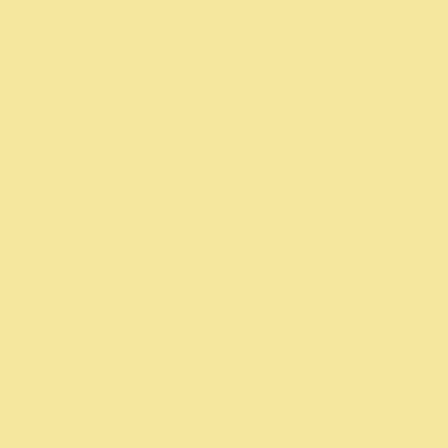Even smaller if they did some kind of... not exactly a DSLR.
Posted by: Paris | Friday, 14 September 2012 at 01:37
Mike, I think you're right. A 12 ton e... the 20 ton version it would only be c... lenses.
The big two are doing the obvious th... is thinking and working a bit harder,... Kudos to them. I won't be buying an... no longer racing around dimly lit spe... so, especially if a matched 2x afocal
Posted by: struan | Friday, 14 September 2012 at 02:2
DDB:
the D700 is marvelously adequ
which just makes me that much mo